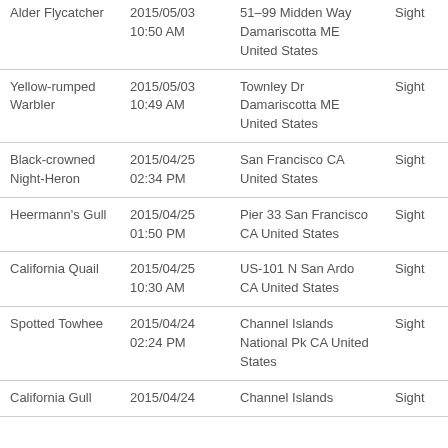| Alder Flycatcher | 2015/05/03
10:50 AM | 51–99 Midden Way Damariscotta ME United States | Sight |
| Yellow-rumped Warbler | 2015/05/03
10:49 AM | Townley Dr Damariscotta ME United States | Sight |
| Black-crowned Night-Heron | 2015/04/25
02:34 PM | San Francisco CA United States | Sight |
| Heermann's Gull | 2015/04/25
01:50 PM | Pier 33 San Francisco CA United States | Sight |
| California Quail | 2015/04/25
10:30 AM | US-101 N San Ardo CA United States | Sight |
| Spotted Towhee | 2015/04/24
02:24 PM | Channel Islands National Pk CA United States | Sight |
| California Gull | 2015/04/24 | Channel Islands | Sight |